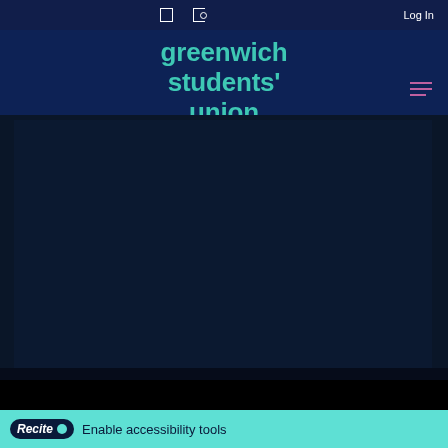Log In
[Figure (logo): Greenwich Students' Union logo — teal text on dark navy background reading 'greenwich students' union']
[Figure (screenshot): Dark navy main content area, mostly blank/dark with a black band below]
Recite • Enable accessibility tools